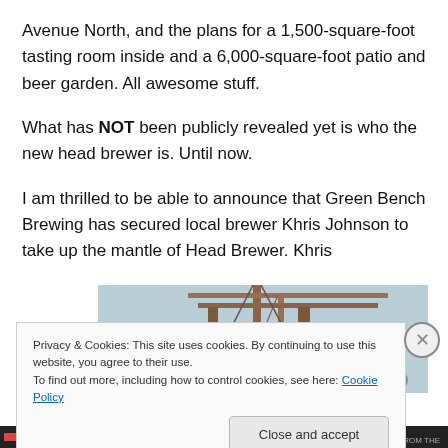Avenue North, and the plans for a 1,500-square-foot tasting room inside and a 6,000-square-foot patio and beer garden. All awesome stuff.
What has NOT been publicly revealed yet is who the new head brewer is. Until now.
I am thrilled to be able to announce that Green Bench Brewing has secured local brewer Khris Johnson to take up the mantle of Head Brewer. Khris
[Figure (photo): Partial photo of industrial brewing equipment or cranes, partially obscured by cookie consent banner]
Privacy & Cookies: This site uses cookies. By continuing to use this website, you agree to their use.
To find out more, including how to control cookies, see here: Cookie Policy
Close and accept